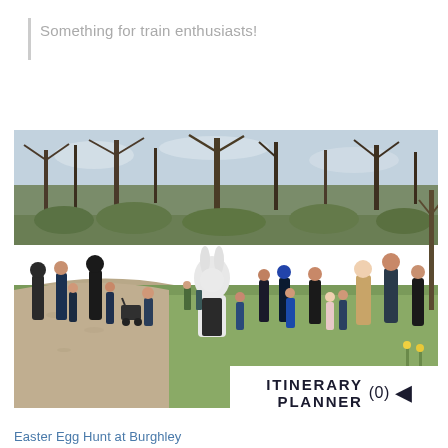Something for train enthusiasts!
[Figure (photo): Outdoor Easter egg hunt event with families and children gathered on a grassy path in a park setting. A person dressed as the Easter Bunny mascot stands in the center, surrounded by children and parents. Bare trees visible in the background.]
ITINERARY PLANNER (0)
Easter Egg Hunt at Burghley